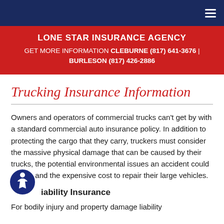LONE STAR INSURANCE AGENCY | GET MORE INFORMATION CLEBURNE (817) 641-3676 | BURLESON (817) 426-2886
Trucking Insurance Information
Owners and operators of commercial trucks can't get by with a standard commercial auto insurance policy. In addition to protecting the cargo that they carry, truckers must consider the massive physical damage that can be caused by their trucks, the potential environmental issues an accident could cause, and the expensive cost to repair their large vehicles.
Liability Insurance
For bodily injury and property damage liability